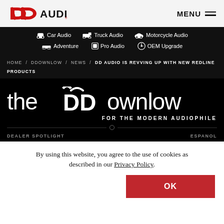DD AUDIO — MENU
Car Audio
Truck Audio
Motorcycle Audio
Adventure
Pro Audio
OEM Upgrade
HOME / DDOWNLOW / NEWS / DD AUDIO IS REVVING UP WITH NEW REDLINE PRODUCTS
[Figure (logo): the DDDownlow — FOR THE MODERN AUDIOPHILE logo in white on black background]
DEALER SPOTLIGHT
ESPANOL
By using this website, you agree to the use of cookies as described in our Privacy Policy.
OK